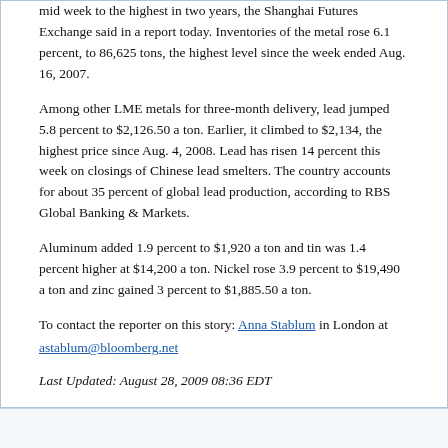mid week to the highest in two years, the Shanghai Futures Exchange said in a report today. Inventories of the metal rose 6.1 percent, to 86,625 tons, the highest level since the week ended Aug. 16, 2007.
Among other LME metals for three-month delivery, lead jumped 5.8 percent to $2,126.50 a ton. Earlier, it climbed to $2,134, the highest price since Aug. 4, 2008. Lead has risen 14 percent this week on closings of Chinese lead smelters. The country accounts for about 35 percent of global lead production, according to RBS Global Banking & Markets.
Aluminum added 1.9 percent to $1,920 a ton and tin was 1.4 percent higher at $14,200 a ton. Nickel rose 3.9 percent to $19,490 a ton and zinc gained 3 percent to $1,885.50 a ton.
To contact the reporter on this story: Anna Stablum in London at astablum@bloomberg.net
Last Updated: August 28, 2009 08:36 EDT
Re:Stingray issues shares to Xstrata for El Pilar property
King James
Sep 09, 2009 12:02PM